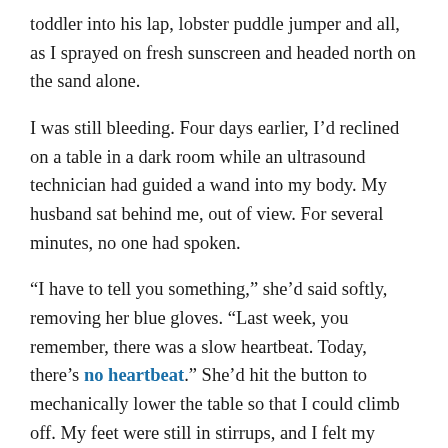toddler into his lap, lobster puddle jumper and all, as I sprayed on fresh sunscreen and headed north on the sand alone.
I was still bleeding. Four days earlier, I'd reclined on a table in a dark room while an ultrasound technician had guided a wand into my body. My husband sat behind me, out of view. For several minutes, no one had spoken.
“I have to tell you something,” she’d said softly, removing her blue gloves. “Last week, you remember, there was a slow heartbeat. Today, there’s no heartbeat.” She’d hit the button to mechanically lower the table so that I could climb off. My feet were still in stirrups, and I felt my husband’s hand touch the back of my arm as my will broke. I started to cry, embarrassed. She’d certainly witnessed the end of pregnancies much farther along than mine—8 weeks and 5 days.